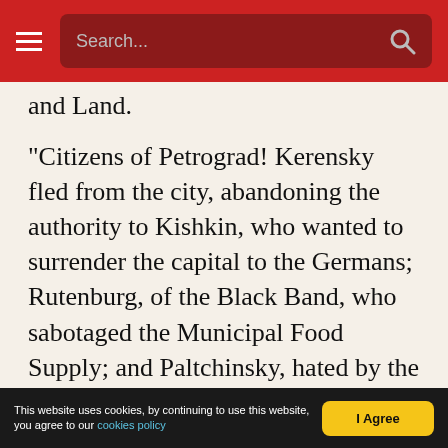Search...
and Land.
“Citizens of Petrograd! Kerensky fled from the city, abandoning the authority to Kishkin, who wanted to surrender the capital to the Germans; Rutenburg, of the Black Band, who sabotaged the Municipal Food Supply; and Paltchinsky, hated by the whole democracy. Kerensky has fled, abandoning you to the Germans, to famine, to bloody massacres. The revolting people have arrested Kerensky’s Ministers, and you have seen how the order and supplying of Petrograd at once improved. Kerensky, at the demand of the aristocrat proprietors, the
This website uses cookies, by continuing to use this website, you agree to our cookies policy  I Agree